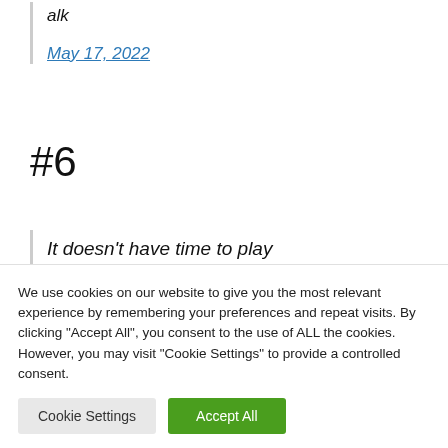alk
May 17, 2022
#6
It doesn't have time to play
We use cookies on our website to give you the most relevant experience by remembering your preferences and repeat visits. By clicking "Accept All", you consent to the use of ALL the cookies. However, you may visit "Cookie Settings" to provide a controlled consent.